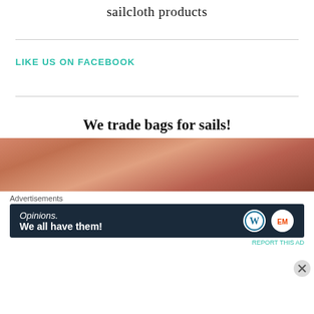sailcloth products
LIKE US ON FACEBOOK
We trade bags for sails!
[Figure (photo): Partial photo showing warm orange/brown tones, appears to be a person or interior scene]
Advertisements
[Figure (infographic): Advertisement banner: dark navy background with text 'Opinions. We all have them!' and WordPress and Elementor logos on right side]